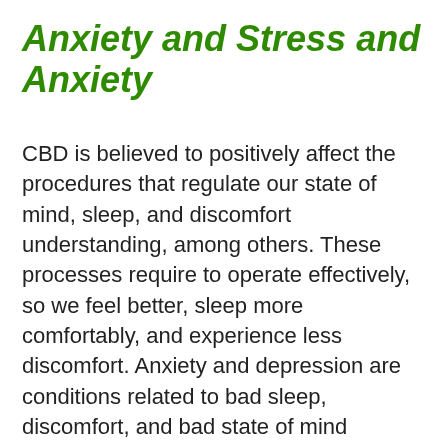Anxiety and Stress and Anxiety
CBD is believed to positively affect the procedures that regulate our state of mind, sleep, and discomfort understanding, among others. These processes require to operate effectively, so we feel better, sleep more comfortably, and experience less discomfort. Anxiety and depression are conditions related to bad sleep, discomfort, and bad state of mind guideline due to the fact that the endocannabinoid system isn't working to the best of its capability.
Professionals think careful CBD dosing might assist to manage anxiety, depression, and aid